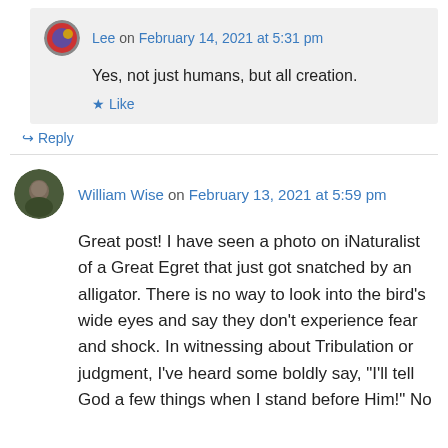Lee on February 14, 2021 at 5:31 pm
Yes, not just humans, but all creation.
★ Like
↳ Reply
William Wise on February 13, 2021 at 5:59 pm
Great post! I have seen a photo on iNaturalist of a Great Egret that just got snatched by an alligator. There is no way to look into the bird's wide eyes and say they don't experience fear and shock. In witnessing about Tribulation or judgment, I've heard some boldly say, "I'll tell God a few things when I stand before Him!" No